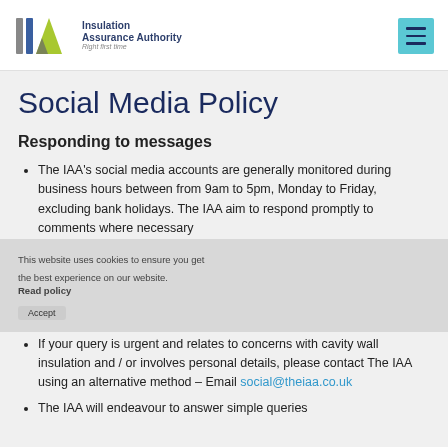Insulation Assurance Authority — Right first time
Social Media Policy
Responding to messages
The IAA's social media accounts are generally monitored during business hours between from 9am to 5pm, Monday to Friday, excluding bank holidays. The IAA aim to respond promptly to comments where necessary
If your query is urgent and relates to concerns with cavity wall insulation and / or involves personal details, please contact The IAA using an alternative method – Email social@theiaa.co.uk
The IAA will endeavour to answer simple queries